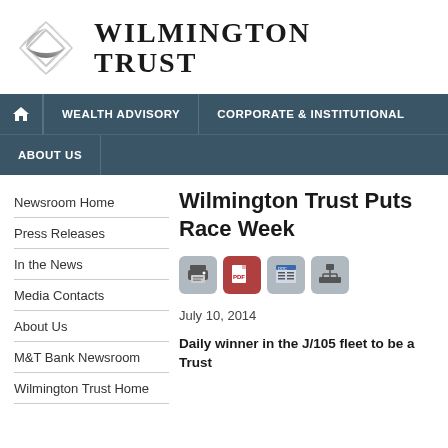[Figure (logo): Wilmington Trust logo with silver interlocking shapes and serif text reading WILMINGTON TRUST]
WEALTH ADVISORY | CORPORATE & INSTITUTIONAL | ABOUT US
Newsroom Home
Press Releases
In the News
Media Contacts
About Us
M&T Bank Newsroom
Wilmington Trust Home
Wilmington Trust Puts Race Week
[Figure (other): Row of four icon buttons: print, PDF, document, and share/org-chart icons]
July 10, 2014
Daily winner in the J/105 fleet to be awarded by Wilmington Trust